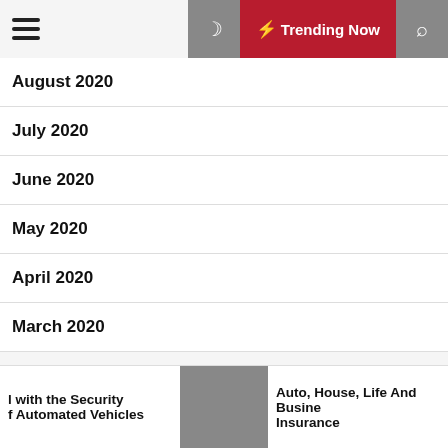Trending Now
August 2020
July 2020
June 2020
May 2020
April 2020
March 2020
l with the Security of Automated Vehicles
Auto, House, Life And Business Insurance